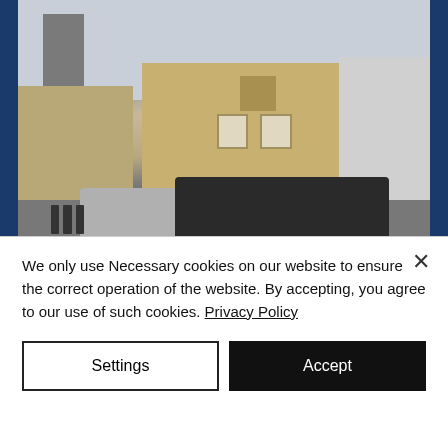[Figure (photo): Street-level photo showing stone buildings, parked cars (a silver hatchback and a dark SUV), bollards on a pavement, and a clock tower visible in the background. The scene appears to be a Scottish town.]
Forth Rail Bridge
The Forth Rail Bridge is a cantilever railway bridge over the Firth of Forth. It was opened on 4 March 1890. For over
We only use Necessary cookies on our website to ensure the correct operation of the website. By accepting, you agree to our use of such cookies. Privacy Policy
Settings
Accept